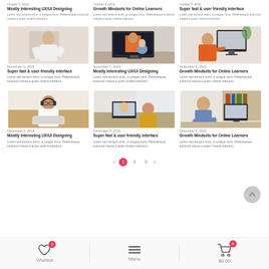October 5, 2019 — Mostly Interesting UX/UI Designing — Lorem sed tempus enim, a congue risus. Pellentesque euismod massa a quam viverra interdum.
October 6, 2019 — Growth Mindsets for Online Learners — Lorem sed tempus enim, a congue risus. Pellentesque euismod massa a quam viverra interdum.
October 5, 2019 — Super fast & user friendly interface — Lorem sed tempus enim, a congue risus. Pellentesque euismod massa a quam viverra interdum.
[Figure (photo): Woman in white shirt gesturing with hands, talking at a desk]
[Figure (photo): Person watching a video call on a computer monitor, person in orange on screen]
[Figure (photo): Young woman working at a desk with a computer monitor]
November 6, 2019 — Super fast & user friendly interface — Lorem sed tempus enim, a congue risus. Pellentesque euismod massa a quam viverra interdum.
November 7, 2019 — Mostly Interesting UX/UI Designing — Lorem sed tempus enim, a congue risus. Pellentesque euismod massa a quam viverra interdum.
November 6, 2019 — Growth Mindsets for Online Learners — Lorem sed tempus enim, a congue risus. Pellentesque euismod massa a quam viverra interdum.
[Figure (photo): Woman with glasses and headphones, working on laptop]
[Figure (photo): Person in yellow shirt looking at laptop screen with a face on it]
[Figure (photo): Man in denim shirt working at a desk with computer]
December 2, 2019 — Mostly Interesting UX/UI Designing — Lorem sed tempus enim, a congue risus. Pellentesque euismod massa a quam viverra interdum.
December 4, 2019 — Super fast & user friendly interface — Lorem sed tempus enim, a congue risus. Pellentesque euismod massa a quam viverra interdum.
December 6, 2019 — Growth Mindsets for Online Learners — Lorem sed tempus enim, a congue risus. Pellentesque euismod massa a quam viverra interdum.
Wishlist 0
Menu
$0.00 0